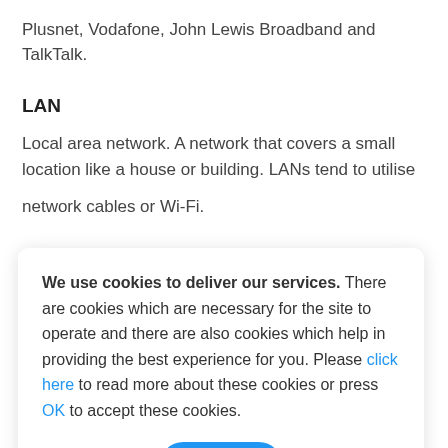Plusnet, Vodafone, John Lewis Broadband and TalkTalk.
LAN
Local area network. A network that covers a small location like a house or building. LANs tend to utilise network cables or Wi-Fi.
We use cookies to deliver our services. There are cookies which are necessary for the site to operate and there are also cookies which help in providing the best experience for you. Please click here to read more about these cookies or press OK to accept these cookies.